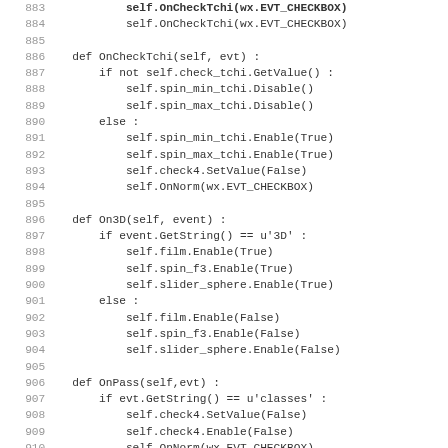Source code listing lines 883-915, Python class methods OnCheckTchi, On3D, OnPass, and start of class SelectColDial